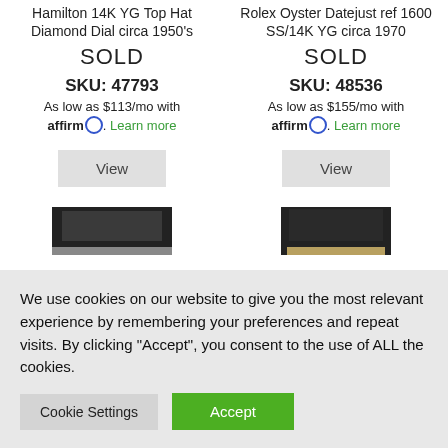Hamilton 14K YG Top Hat Diamond Dial circa 1950's
Rolex Oyster Datejust ref 1600 SS/14K YG circa 1970
SOLD
SOLD
SKU: 47793
SKU: 48536
As low as $113/mo with affirm. Learn more
As low as $155/mo with affirm. Learn more
View
View
[Figure (photo): Partial product image at bottom left]
[Figure (photo): Partial product image at bottom right]
We use cookies on our website to give you the most relevant experience by remembering your preferences and repeat visits. By clicking “Accept”, you consent to the use of ALL the cookies.
Cookie Settings
Accept